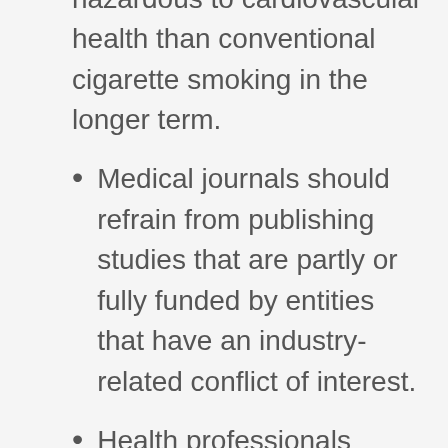e-cigarette use is less hazardous to cardiovascular health than conventional cigarette smoking in the longer term.
Medical journals should refrain from publishing studies that are partly or fully funded by entities that have an industry-related conflict of interest.
Health professionals should inform patients and the public of the risks related to e-cigarette use.
Flavours should be prohibited. This should certainly be the case for those flavours that may not be safe and those that are likely to attract...